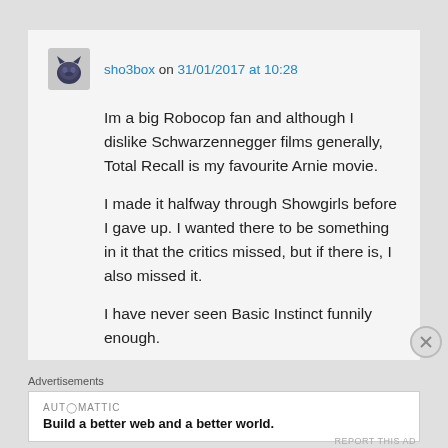sho3box on 31/01/2017 at 10:28
Im a big Robocop fan and although I dislike Schwarzennegger films generally, Total Recall is my favourite Arnie movie.
I made it halfway through Showgirls before I gave up. I wanted there to be something in it that the critics missed, but if there is, I also missed it.
I have never seen Basic Instinct funnily enough.
Advertisements
AUTOMATTIC
Build a better web and a better world.